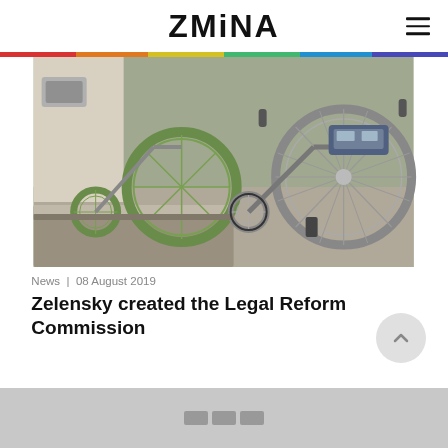ZMINA
[Figure (photo): Close-up photograph of wheelchair wheels against a concrete curb/step, showing accessibility barrier. Two wheelchairs visible, one green-rimmed in background and one silver in foreground.]
News  |  08 August 2019
Zelensky created the Legal Reform Commission